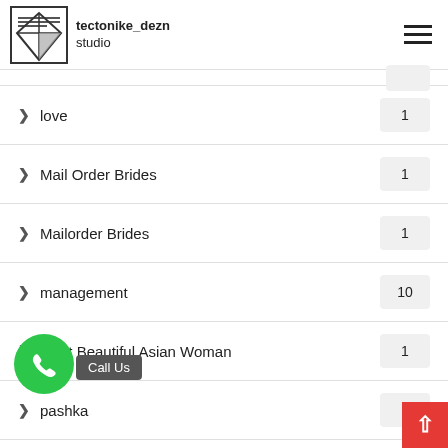tectonike_dezn studio
love  1
Mail Order Brides  1
Mailorder Brides  1
management  10
Most Beautiful Asian Woman  1
pashka  1
day Loans  12